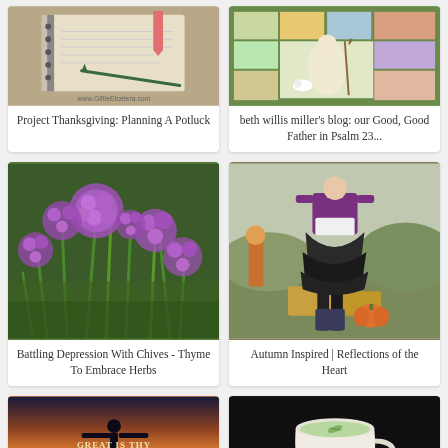[Figure (photo): Notebook with pen and pink bookmark on a table, with text 'www.GiftieEtcetera.com']
Project Thanksgiving: Planning A Potluck
[Figure (photo): Colorful illustrated tapestry or fabric art depicting a pastoral religious scene, Psalm 23 themed]
beth willis miller's blog: our Good, Good Father in Psalm 23...
[Figure (photo): Close-up photograph of purple chive flowers blooming with green stems]
Battling Depression With Chives - Thyme To Embrace Herbs
[Figure (photo): Person wearing a dark ruffled skirt, purple cardigan, and knee-high boots standing near hay bales and pumpkins in an autumn setting]
Autumn Inspired | Reflections of the Heart
[Figure (photo): Silhouette of a person with arms outstretched against a sunset sky, with text 'GREAT IS THY FAITHFULNESS']
[Figure (photo): White teacup filled with green tea on a dark background]